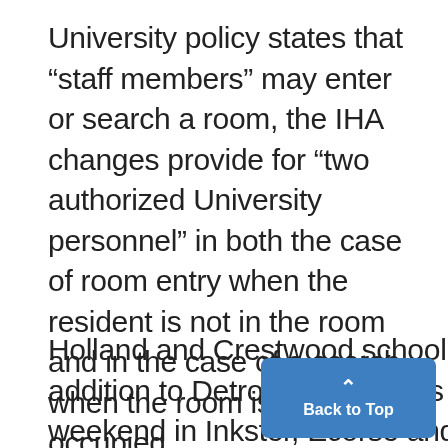University policy states that "staff members" may enter or search a room, the IHA changes provide for "two authorized University personnel" in both the case of room entry when the resident is not in the room and in the case of a search when the room is un-occupied.
Holland and Crestwood school districts. In addition to Detroit, settlements were reached over weekend in Inkster, Ecorse and